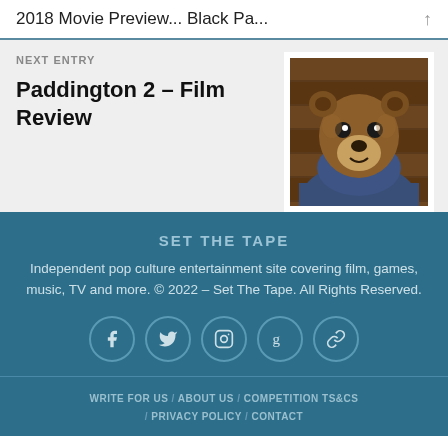2018 Movie Preview... Black Pa...
NEXT ENTRY
Paddington 2 – Film Review
[Figure (photo): Photo of Paddington bear, a CGI brown bear wearing a blue duffel coat, looking at the camera]
SET THE TAPE
Independent pop culture entertainment site covering film, games, music, TV and more. © 2022 – Set The Tape. All Rights Reserved.
[Figure (infographic): Social media icons: Facebook, Twitter, Instagram, Goodreads, Link]
WRITE FOR US / ABOUT US / COMPETITION TS&CS / PRIVACY POLICY / CONTACT